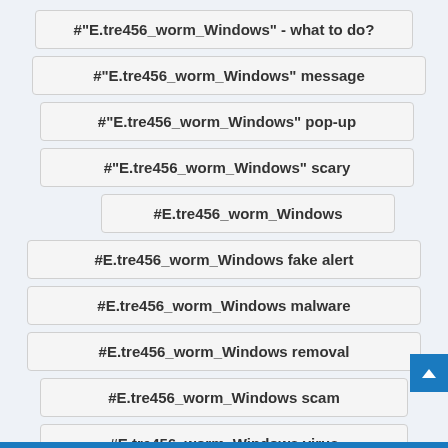#"E.tre456_worm_Windows" - what to do?
#"E.tre456_worm_Windows" message
#"E.tre456_worm_Windows" pop-up
#"E.tre456_worm_Windows" scary
#E.tre456_worm_Windows
#E.tre456_worm_Windows fake alert
#E.tre456_worm_Windows malware
#E.tre456_worm_Windows removal
#E.tre456_worm_Windows scam
#E.tre456_worm_Windows virus